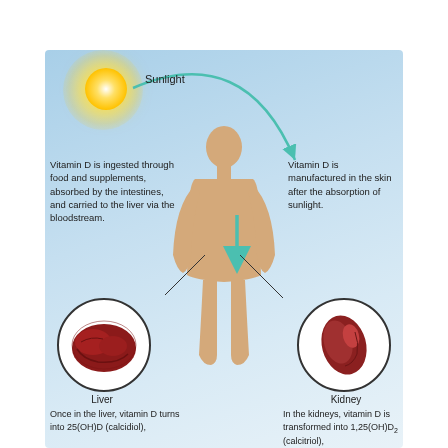[Figure (infographic): Medical infographic showing the pathway of Vitamin D synthesis in the human body. Shows sunlight arrow to human figure (skin), cyan arrows indicating absorption pathways. Left side shows liver circle with text about 25(OH)D (calcidiol) conversion. Right side shows kidney circle with text about 1,25(OH)2D (calcitriol) conversion. Text explains that Vitamin D is ingested through food and supplements, absorbed by the intestines, and carried to the liver via the bloodstream; also that Vitamin D is manufactured in the skin after the absorption of sunlight.]